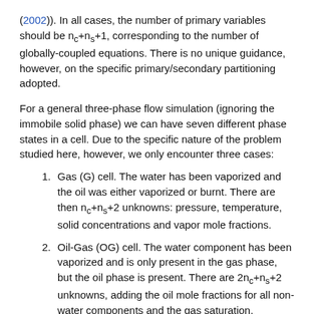(2002)). In all cases, the number of primary variables should be n_c+n_s+1, corresponding to the number of globally-coupled equations. There is no unique guidance, however, on the specific primary/secondary partitioning adopted.
For a general three-phase flow simulation (ignoring the immobile solid phase) we can have seven different phase states in a cell. Due to the specific nature of the problem studied here, however, we only encounter three cases:
Gas (G) cell. The water has been vaporized and the oil was either vaporized or burnt. There are then n_c+n_s+2 unknowns: pressure, temperature, solid concentrations and vapor mole fractions.
Oil-Gas (OG) cell. The water component has been vaporized and is only present in the gas phase, but the oil phase is present. There are 2n_c+n_s+2 unknowns, adding the oil mole fractions for all non-water components and the gas saturation.
Oil-Water-Gas (OWG) cell. All mobile phases are present. There are 2n_c+n_s+3 unknowns, adding the